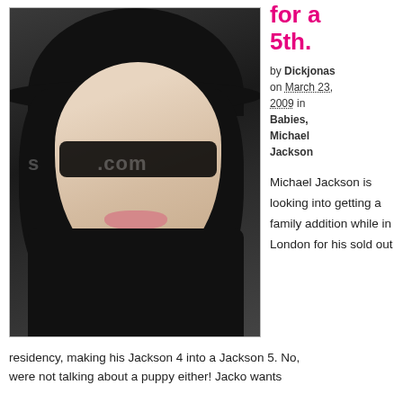for a 5th.
by Dickjonas on March 23, 2009 in Babies, Michael Jackson
[Figure (photo): Photo of Michael Jackson wearing a black wide-brim hat, sunglasses, and black outfit with long dark hair. Watermark visible across image.]
Michael Jackson is looking into getting a family addition while in London for his sold out residency, making his Jackson 4 into a Jackson 5. No, were not talking about a puppy either! Jacko wants